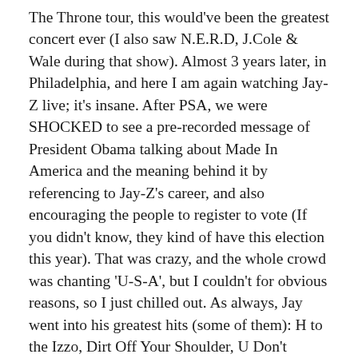The Throne tour, this would've been the greatest concert ever (I also saw N.E.R.D, J.Cole & Wale during that show). Almost 3 years later, in Philadelphia, and here I am again watching Jay-Z live; it's insane. After PSA, we were SHOCKED to see a pre-recorded message of President Obama talking about Made In America and the meaning behind it by referencing to Jay-Z's career, and also encouraging the people to register to vote (If you didn't know, they kind of have this election this year). That was crazy, and the whole crowd was chanting 'U-S-A', but I couldn't for obvious reasons, so I just chilled out. As always, Jay went into his greatest hits (some of them): H to the Izzo, Dirt Off Your Shoulder, U Don't Know, Excuse Me Miss, Empire State of Mind, Big Pimpin', Where I'm From, I Just Wanna Love You, Jigga What, Run This Town, and La La La (I'm sure I missed a few, but I'm running off of memory). He brought out Swizz Beats to perform 'On to the Next One', then, from out of NOWHERE, he